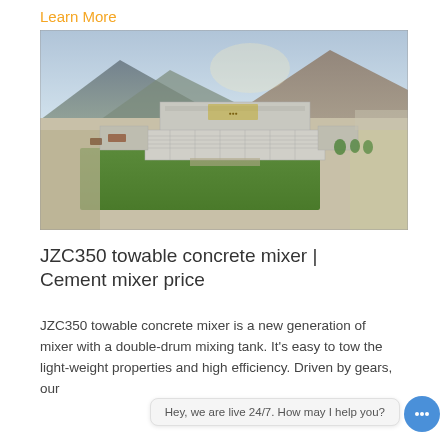Learn More
[Figure (photo): Aerial drone photograph of a large industrial or institutional building complex surrounded by green lawns and roads, with mountains in the background. The building appears to be a factory or facility with multiple rectangular structures.]
JZC350 towable concrete mixer | Cement mixer price
JZC350 towable concrete mixer is a new generation of mixer with a double-drum mixing tank. It's easy to tow the light-weight properties and high efficiency. Driven by gears, our
Hey, we are live 24/7. How may I help you?